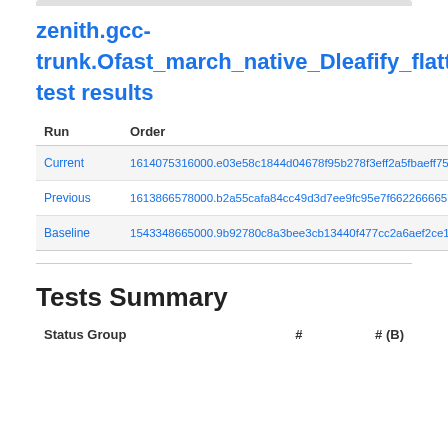zenith.gcc-trunk.Ofast_march_native_Dleafify_flatten test results
| Run | Order |
| --- | --- |
| Current | 1614075316000.e03e58c1844d04678f95b278f3eff2a5fbaeff75 |
| Previous | 1613866578000.b2a55cafa84cc49d3d7ee9fc95e7f6622666657 |
| Baseline | 1543348665000.9b92780c8a3bee3cb13440f477cc2a6aef2ce1 |
Tests Summary
| Status Group | # | # (B) |
| --- | --- | --- |